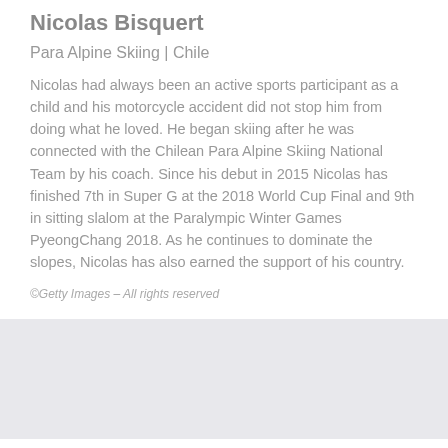Nicolas Bisquert
Para Alpine Skiing | Chile
Nicolas had always been an active sports participant as a child and his motorcycle accident did not stop him from doing what he loved. He began skiing after he was connected with the Chilean Para Alpine Skiing National Team by his coach. Since his debut in 2015 Nicolas has finished 7th in Super G at the 2018 World Cup Final and 9th in sitting slalom at the Paralympic Winter Games PyeongChang 2018. As he continues to dominate the slopes, Nicolas has also earned the support of his country.
©Getty Images – All rights reserved